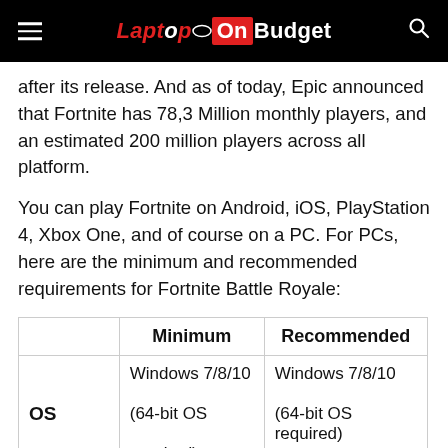LaptopOnBudget
after its release. And as of today, Epic announced that Fortnite has 78,3 Million monthly players, and an estimated 200 million players across all platform.
You can play Fortnite on Android, iOS, PlayStation 4, Xbox One, and of course on a PC. For PCs, here are the minimum and recommended requirements for Fortnite Battle Royale:
|  | Minimum | Recommended |
| --- | --- | --- |
| OS | Windows 7/8/10 (64-bit OS required) | Windows 7/8/10 (64-bit OS required) |